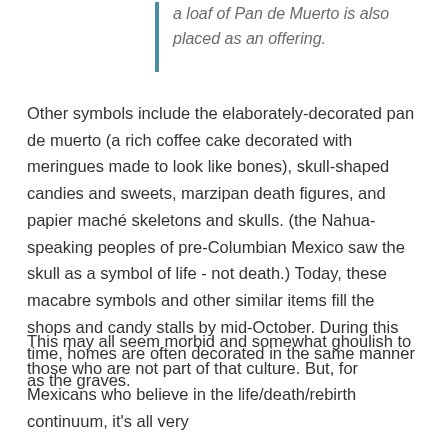a loaf of Pan de Muerto is also placed as an offering.
Other symbols include the elaborately-decorated pan de muerto (a rich coffee cake decorated with meringues made to look like bones), skull-shaped candies and sweets, marzipan death figures, and papier maché skeletons and skulls. (the Nahua-speaking peoples of pre-Columbian Mexico saw the skull as a symbol of life - not death.) Today, these macabre symbols and other similar items fill the shops and candy stalls by mid-October. During this time, homes are often decorated in the same manner as the graves.
This may all seem morbid and somewhat ghoulish to those who are not part of that culture. But, for Mexicans who believe in the life/death/rebirth continuum, it's all very